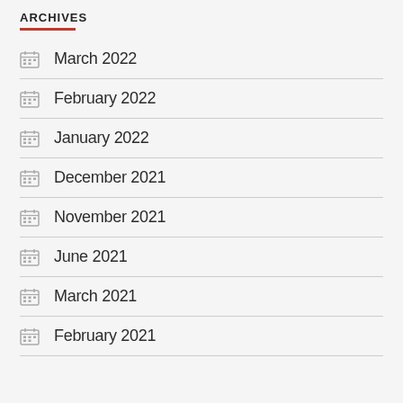ARCHIVES
March 2022
February 2022
January 2022
December 2021
November 2021
June 2021
March 2021
February 2021